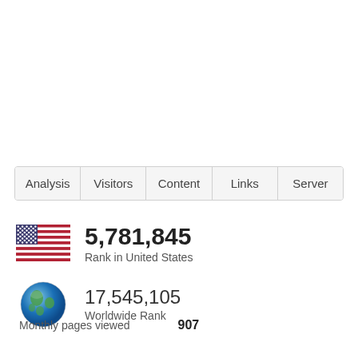| Analysis | Visitors | Content | Links | Server |
| --- | --- | --- | --- | --- |
5,781,845
Rank in United States
17,545,105
Worldwide Rank
Monthly pages viewed   907